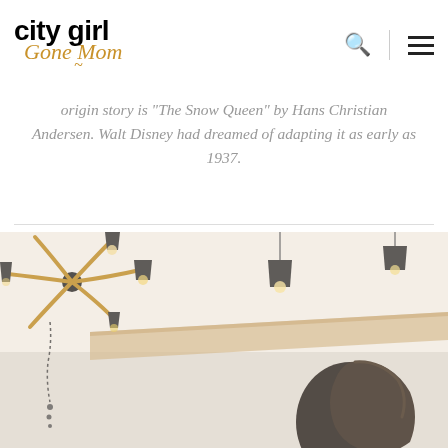city girl Gone Mom
origin story is "The Snow Queen" by Hans Christian Andersen. Walt Disney had dreamed of adapting it as early as 1937.
[Figure (photo): Interior photo showing ornate black chandelier with gold arms on left side, pendant lights in center, and a person (seen from behind/side) with dark hair in the lower right. White walls, wooden shelf element visible.]